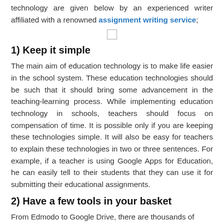technology are given below by an experienced writer affiliated with a renowned assignment writing service;
[Figure (other): Small empty checkbox/placeholder rectangle]
1) Keep it simple
The main aim of education technology is to make life easier in the school system. These education technologies should be such that it should bring some advancement in the teaching-learning process. While implementing education technology in schools, teachers should focus on compensation of time. It is possible only if you are keeping these technologies simple. It will also be easy for teachers to explain these technologies in two or three sentences. For example, if a teacher is using Google Apps for Education, he can easily tell to their students that they can use it for submitting their educational assignments.
2) Have a few tools in your basket
From Edmodo to Google Drive, there are thousands of